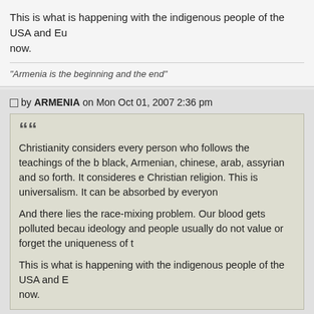This is what is happening with the indigenous people of the USA and Eu now.
"Armenia is the beginning and the end"
by ARMENIA on Mon Oct 01, 2007 2:36 pm
Christianity considers every person who follows the teachings of the b black, Armenian, chinese, arab, assyrian and so forth. It consideres e Christian religion. This is universalism. It can be absorbed by everyon

And there lies the race-mixing problem. Our blood gets polluted becau ideology and people usually do not value or forget the uniqueness of t

This is what is happening with the indigenous people of the USA and n now.
Actually you’re changing the subject now, i thought we were discussing about the Christian influence on race mixing.
Which by the way also can lead to infiltration on the long term.